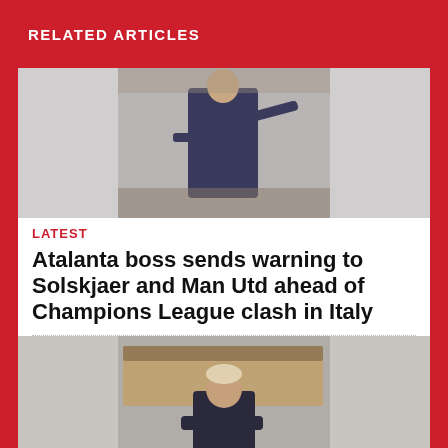RELATED ARTICLES
[Figure (photo): Football manager on sideline pointing, wearing dark jacket]
LATEST
Atalanta boss sends warning to Solskjaer and Man Utd ahead of Champions League clash in Italy
[Figure (photo): Football manager standing with arms crossed, wearing dark jacket]
LATEST